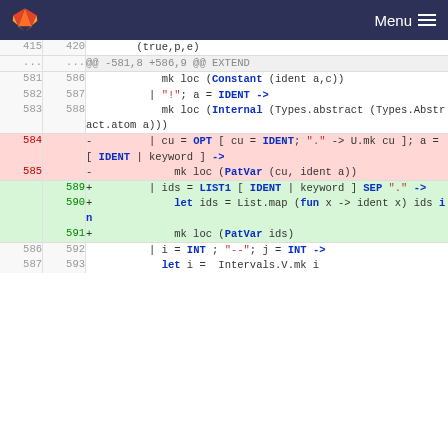GitLab Menu
[Figure (screenshot): Code diff view showing OCaml source changes with line numbers, removed lines in pink and added lines in green.]